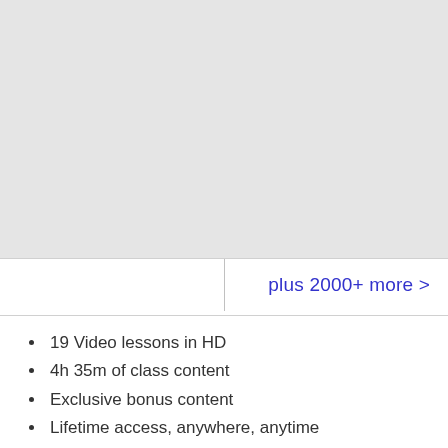[Figure (other): Light gray placeholder image area occupying the top portion of the page]
plus 2000+ more >
19 Video lessons in HD
4h 35m of class content
Exclusive bonus content
Lifetime access, anywhere, anytime
Streaming access on desktop and mobile browsers